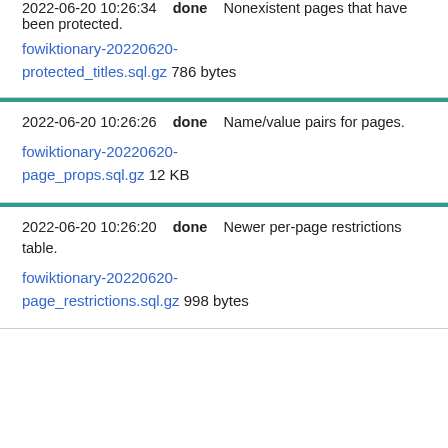2022-06-20 10:26:34   done   Nonexistent pages that have been protected.
fowiktionary-20220620-protected_titles.sql.gz 786 bytes
2022-06-20 10:26:26   done   Name/value pairs for pages.
fowiktionary-20220620-page_props.sql.gz 12 KB
2022-06-20 10:26:20   done   Newer per-page restrictions table.
fowiktionary-20220620-page_restrictions.sql.gz 998 bytes